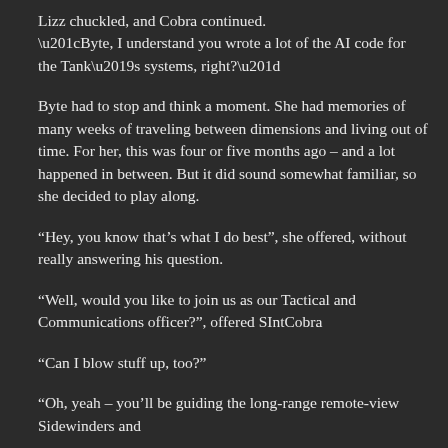Lizz chuckled, and Cobra continued. “Byte, I understand you wrote a lot of the AI code for the Tank’s systems, right?”
Byte had to stop and think a moment. She had memories of many weeks of traveling between dimensions and living out of time. For her, this was four or five months ago – and a lot happened in between. But it did sound somewhat familiar, so she decided to play along.
“Hey, you know that’s what I do best”, she offered, without really answering his question.
“Well, would you like to join us as our Tactical and Communications officer?”, offered SIntCobra
“Can I blow stuff up, too?”
“Oh, yeah – you’ll be guiding the long-range remote-view Sidewinders and